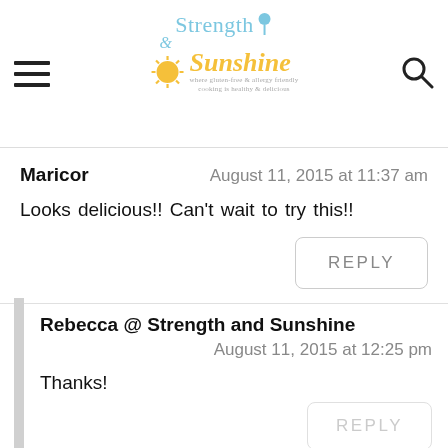Strength & Sunshine — blog header with logo, hamburger menu, and search icon
Maricor
August 11, 2015 at 11:37 am
Looks delicious!! Can't wait to try this!!
REPLY
Rebecca @ Strength and Sunshine
August 11, 2015 at 12:25 pm
Thanks!
REPLY